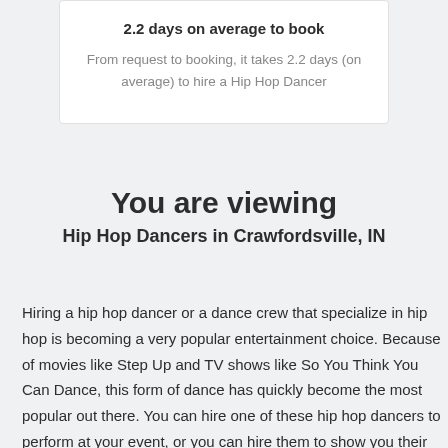2.2 days on average to book
From request to booking, it takes 2.2 days (on average) to hire a Hip Hop Dancer
You are viewing
Hip Hop Dancers in Crawfordsville, IN
Hiring a hip hop dancer or a dance crew that specialize in hip hop is becoming a very popular entertainment choice. Because of movies like Step Up and TV shows like So You Think You Can Dance, this form of dance has quickly become the most popular out there. You can hire one of these hip hop dancers to perform at your event, or you can hire them to show you their moves or choreograph a dance for you to perform at a special event.